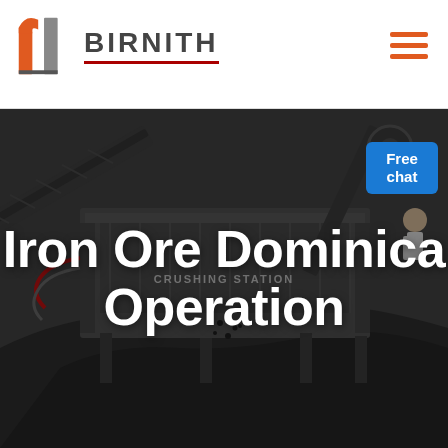[Figure (logo): Birnith company logo with orange building/pillar icon and company name BIRNITH with red underline, plus hamburger menu icon on the right]
[Figure (photo): Dark industrial background photo of a crushing station/iron ore mining operation with large machinery, conveyor belts, and a pile of crushed black ore material. A chat assistant icon in the top right corner with a 'Free chat' blue button.]
Iron Ore Dominica Operation